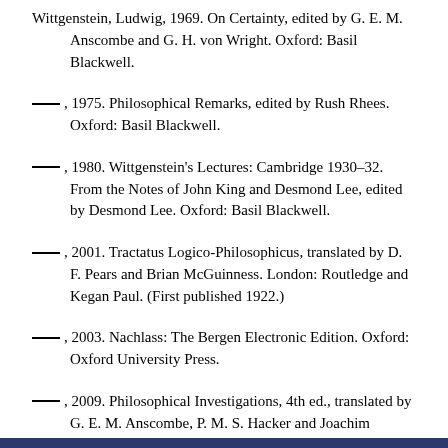Wittgenstein, Ludwig, 1969. On Certainty, edited by G. E. M. Anscombe and G. H. von Wright. Oxford: Basil Blackwell.
———, 1975. Philosophical Remarks, edited by Rush Rhees. Oxford: Basil Blackwell.
———, 1980. Wittgenstein's Lectures: Cambridge 1930–32. From the Notes of John King and Desmond Lee, edited by Desmond Lee. Oxford: Basil Blackwell.
———, 2001. Tractatus Logico-Philosophicus, translated by D. F. Pears and Brian McGuinness. London: Routledge and Kegan Paul. (First published 1922.)
———, 2003. Nachlass: The Bergen Electronic Edition. Oxford: Oxford University Press.
———, 2009. Philosophical Investigations, 4th ed., translated by G. E. M. Anscombe, P. M. S. Hacker and Joachim Schulte. Oxford: Blackwell. (First published 1953.)